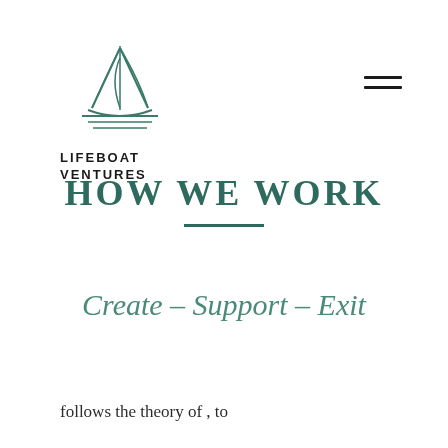[Figure (logo): Lifeboat Ventures sailboat logo — outline of a sailboat in dark teal/green above horizontal lines]
LIFEBOAT VENTURES
HOW WE WORK
Create – Support – Exit
follows the theory of , to